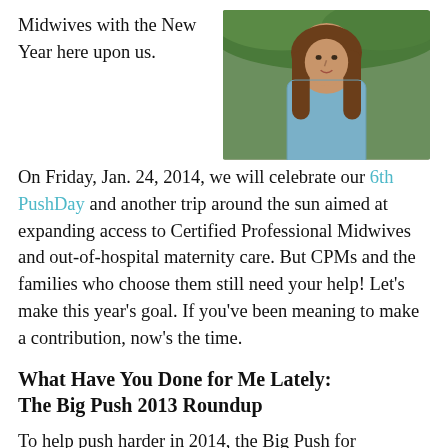Midwives with the New Year here upon us.
[Figure (photo): Photo of a woman with long brown hair wearing a blue shirt, outdoors with green foliage in background]
On Friday, Jan. 24, 2014, we will celebrate our 6th PushDay and another trip around the sun aimed at expanding access to Certified Professional Midwives and out-of-hospital maternity care. But CPMs and the families who choose them still need your help! Let's make this year's goal. If you've been meaning to make a contribution, now's the time.
What Have You Done for Me Lately: The Big Push 2013 Roundup
To help push harder in 2014, the Big Push for Midwives Campaign doubled down just lately to gather resources, provide strategic planning and message development, outreach proactively with news media, and create new tools and helpful services for state consumer and